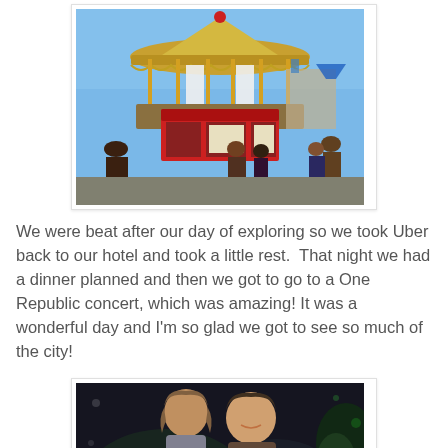[Figure (photo): Outdoor carousel/merry-go-round at a fairground with people around it, blue sky in background, ornate golden structure with red ticketing booth in front.]
We were beat after our day of exploring so we took Uber back to our hotel and took a little rest.  That night we had a dinner planned and then we got to go to a One Republic concert, which was amazing! It was a wonderful day and I'm so glad we got to see so much of the city!
[Figure (photo): Two people posing for a photo, appearing to be at a concert venue with dark background and some green lighting.]